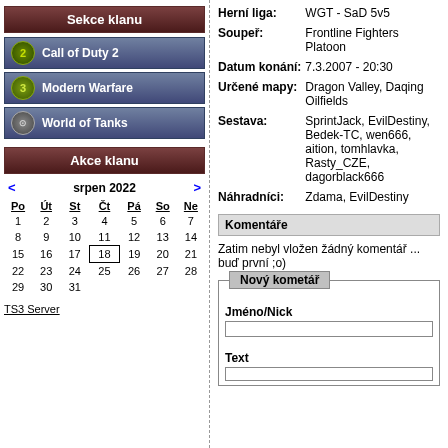Sekce klanu
Call of Duty 2
Modern Warfare
World of Tanks
Akce klanu
| Po | Út | St | Čt | Pá | So | Ne |
| --- | --- | --- | --- | --- | --- | --- |
| 1 | 2 | 3 | 4 | 5 | 6 | 7 |
| 8 | 9 | 10 | 11 | 12 | 13 | 14 |
| 15 | 16 | 17 | 18 | 19 | 20 | 21 |
| 22 | 23 | 24 | 25 | 26 | 27 | 28 |
| 29 | 30 | 31 |  |  |  |  |
TS3 Server
Herní liga: WGT - SaD 5v5
Soupeř: Frontline Fighters Platoon
Datum konání: 7.3.2007 - 20:30
Určené mapy: Dragon Valley, Daqing Oilfields
Sestava: SprintJack, EvilDestiny, Bedek-TC, wen666, aition, tomhlavka, Rasty_CZE, dagorblack666
Náhradníci: Zdama, EvilDestiny
Komentáře
Zatim nebyl vložen žádný komentář ... buď první ;o)
Nový kometář
Jméno/Nick
Text